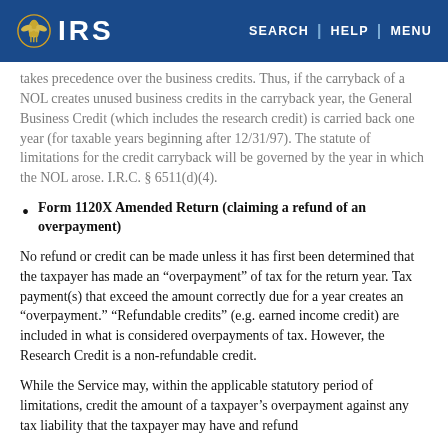IRS | SEARCH | HELP | MENU
takes precedence over the business credits. Thus, if the carryback of a NOL creates unused business credits in the carryback year, the General Business Credit (which includes the research credit) is carried back one year (for taxable years beginning after 12/31/97). The statute of limitations for the credit carryback will be governed by the year in which the NOL arose. I.R.C. § 6511(d)(4).
Form 1120X Amended Return (claiming a refund of an overpayment)
No refund or credit can be made unless it has first been determined that the taxpayer has made an “overpayment” of tax for the return year. Tax payment(s) that exceed the amount correctly due for a year creates an “overpayment.” “Refundable credits” (e.g. earned income credit) are included in what is considered overpayments of tax. However, the Research Credit is a non-refundable credit.
While the Service may, within the applicable statutory period of limitations, credit the amount of a taxpayer’s overpayment against any tax liability that the taxpayer may have and refund